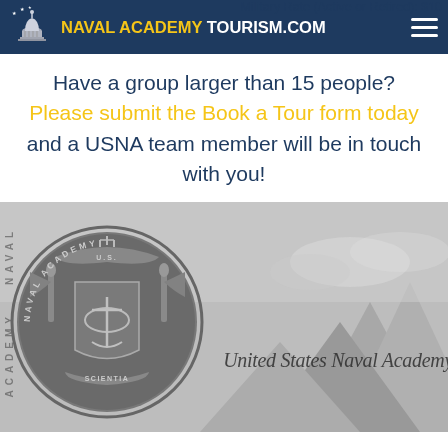Military Rate (Active or Retired): $10
NAVAL ACADEMY TOURISM.COM
Have a group larger than 15 people? Please submit the Book a Tour form today and a USNA team member will be in touch with you!
[Figure (photo): Black and white photo of the United States Naval Academy seal/crest with text 'United States Naval Academy' visible in the background against a mountain/cloudy backdrop]